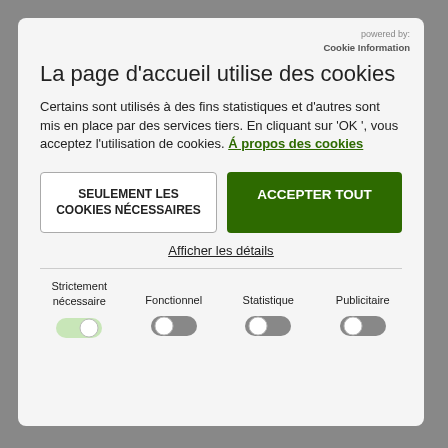powered by: Cookie Information
La page d'accueil utilise des cookies
Certains sont utilisés à des fins statistiques et d'autres sont mis en place par des services tiers. En cliquant sur 'OK ', vous acceptez l'utilisation de cookies. Á propos des cookies
SEULEMENT LES COOKIES NÉCESSAIRES
ACCEPTER TOUT
Afficher les détails
Strictement nécessaire | Fonctionnel | Statistique | Publicitaire